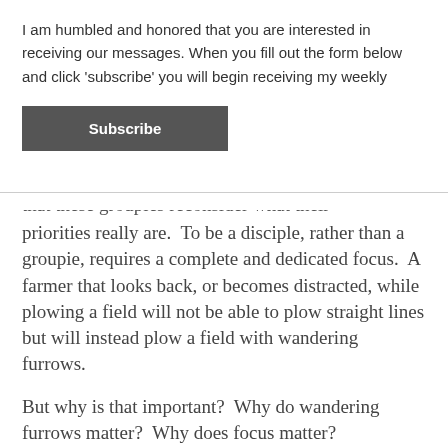I am humbled and honored that you are interested in receiving our messages. When you fill out the form below and click 'subscribe' you will begin receiving my weekly
Subscribe
that these groupies reconsider what their priorities really are.  To be a disciple, rather than a groupie, requires a complete and dedicated focus.  A farmer that looks back, or becomes distracted, while plowing a field will not be able to plow straight lines but will instead plow a field with wandering furrows.
But why is that important?  Why do wandering furrows matter?  Why does focus matter?